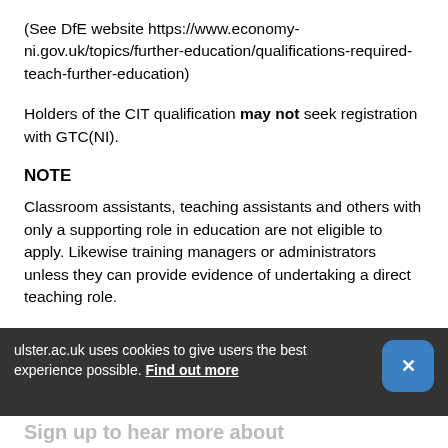(See DfE website https://www.economy-ni.gov.uk/topics/further-education/qualifications-required-teach-further-education)
Holders of the CIT qualification may not seek registration with GTC(NI).
NOTE
Classroom assistants, teaching assistants and others with only a supporting role in education are not eligible to apply. Likewise training managers or administrators unless they can provide evidence of undertaking a direct teaching role.
ulster.ac.uk uses cookies to give users the best experience possible. Find out more
Sign up to hear more about